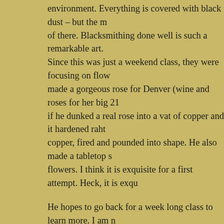environment. Everything is covered with black dust – but the m of there. Blacksmithing done well is such a remarkable art. Since this was just a weekend class, they were focusing on flow made a gorgeous rose for Denver (wine and roses for her big 21 if he dunked a real rose into a vat of copper and it hardened raht copper, fired and pounded into shape. He also made a tabletop s flowers. I think it is exquisite for a first attempt. Heck, it is exqu
He hopes to go back for a week long class to learn more. I am n gift sculptures made from my own horses horseshoes. Talk abou interesting to rest on a desk! It's a dirty hobby, to be sure. Mark soot turned the white hair at his temples back to black. When I s thought was to hose him down before giving him the wifely kiss men best when they are dirty and far be it from me to throw a st bedroom. Call me crazy, but that beats the man in a uniform or a in my humble opinion.
It was a lovely weekend – and for a moment or two we even go FLEX crisis. Truthfully, even though we registered for these cla didn't go, do to depression. But when you are upset, sometime a